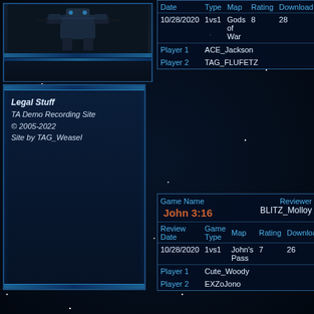[Figure (screenshot): Mech/robot game screenshot top-left panel]
Legal Stuff
TA Demo Recording Site
© 2005-2022
Site by TAG_Weasel
| Date | Type | Map | Rating | Download |
| --- | --- | --- | --- | --- |
| 10/28/2020 | 1vs1 | Gods of War | 8 | 28 |
| Player 1 | ACE_Jackson |  |  |  |
| Player 2 | TAG_FLUFETZ |  |  |  |
| Game Name |  | Reviewer |  |
| --- | --- | --- | --- |
| John 3:16 |  | BLITZ_Molloy |  |
| Review Date | Game Type | Map | Rating | Download |
| 10/28/2020 | 1vs1 | John's Pass | 7 | 26 |
| Player 1 | Cute_Woody |  |  |  |
| Player 2 | EXZoJono |  |  |  |
| Game Name |  | Reviewer |  |
| --- | --- | --- | --- |
| Competent Comet |  | BLITZ_Molloy |  |
| Review Date | Game Type | Map | Rating | Download |
| 10/27/2020 | 1vs1 | Comet Catcher | 6.9 | 26 |
| Player 1 | Wrath Glacius |  |  |  |